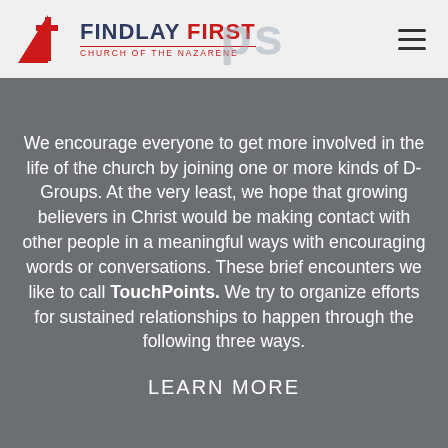FINDLAY FIRST CHURCH OF THE NAZARENE
We encourage everyone to get more involved in the life of the church by joining one or more kinds of D-Groups. At the very least, we hope that growing believers in Christ would be making contact with other people in a meaningful ways with encouraging words or conversations. These brief encounters we like to call TouchPoints. We try to organize efforts for sustained relationships to happen through the following three ways.
LEARN MORE